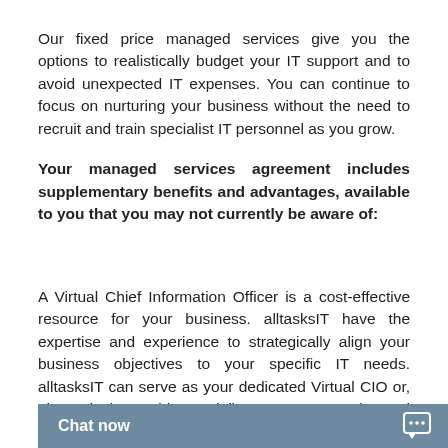Our fixed price managed services give you the options to realistically budget your IT support and to avoid unexpected IT expenses. You can continue to focus on nurturing your business without the need to recruit and train specialist IT personnel as you grow.
Your managed services agreement includes supplementary benefits and advantages, available to you that you may not currently be aware of:
A Virtual Chief Information Officer is a cost-effective resource for your business. alltasksIT have the expertise and experience to strategically align your business objectives to your specific IT needs. alltasksIT can serve as your dedicated Virtual CIO or, alternatively, provide specialist support to your internal head of IT. This includes: